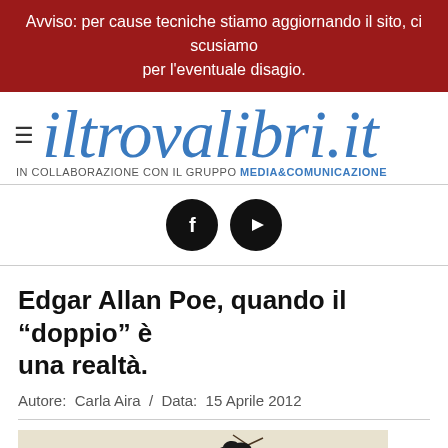Avviso: per cause tecniche stiamo aggiornando il sito, ci scusiamo per l'eventuale disagio.
iltrovalibri.it
IN COLLABORAZIONE CON IL GRUPPO MEDIA&COMUNICAZIONE
[Figure (illustration): Social media icons: Facebook (f) and YouTube (play button), both black circular icons]
Edgar Allan Poe, quando il “doppio” è una realtà.
Autore: Carla Aira / Data: 15 Aprile 2012
[Figure (illustration): Partial illustration showing a dark bird (raven) on a bare branch against a light background]